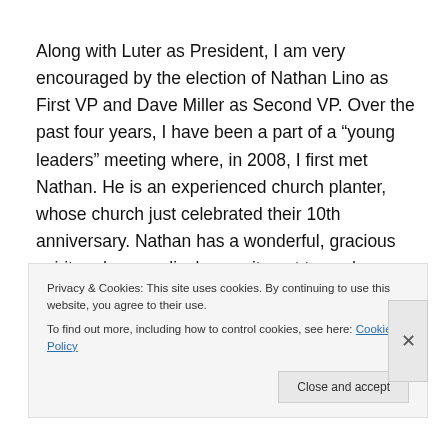Along with Luter as President, I am very encouraged by the election of Nathan Lino as First VP and Dave Miller as Second VP. Over the past four years, I have been a part of a “young leaders” meeting where, in 2008, I first met Nathan. He is an experienced church planter, whose church just celebrated their 10th anniversary. Nathan has a wonderful, gracious spirit and evangelical commitment to work together with Southern Baptists who may not agree with him on various theological issues but nevertheless
Privacy & Cookies: This site uses cookies. By continuing to use this website, you agree to their use.
To find out more, including how to control cookies, see here: Cookie Policy